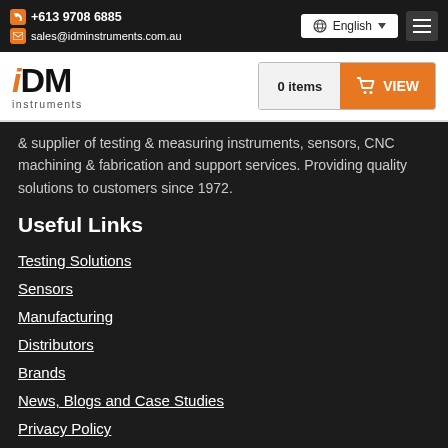+613 9708 6885 | sales@idminstruments.com.au | English
[Figure (logo): IDM Instruments logo with orange stylized 'i' and black 'DM', with 'instruments' text below]
& supplier of testing & measuring instruments, sensors, CNC machining & fabrication and support services. Providing quality solutions to customers since 1972.
Useful Links
Testing Solutions
Sensors
Manufacturing
Distributors
Brands
News, Blogs and Case Studies
Privacy Policy